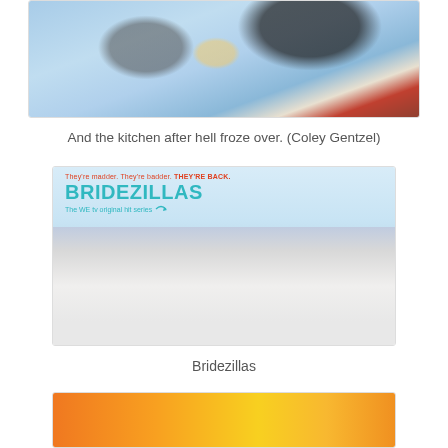[Figure (photo): A blue-tinted frozen kitchen scene with a cast iron pan and other items covered in ice/frost.]
And the kitchen after hell froze over. (Coley Gentzel)
[Figure (photo): Bridezillas TV show promotional image. Text reads: They're madder. They're badder. THEY'RE BACK. BRIDEZILLAS. The WE tv original hit series. Group of women in white wedding dresses posing.]
Bridezillas
[Figure (photo): Bottom cropped image with orange/yellow gradient background, partially visible.]